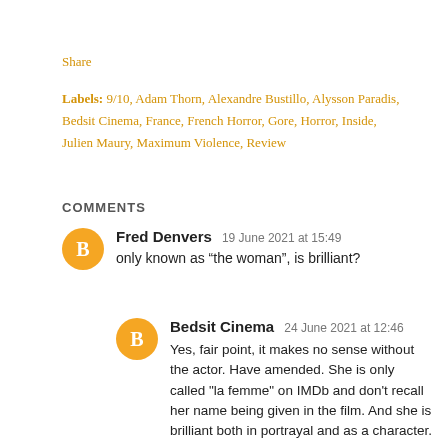Share
Labels: 9/10, Adam Thorn, Alexandre Bustillo, Alysson Paradis, Bedsit Cinema, France, French Horror, Gore, Horror, Inside, Julien Maury, Maximum Violence, Review
COMMENTS
Fred Denvers  19 June 2021 at 15:49
only known as “the woman”, is brilliant?
Bedsit Cinema  24 June 2021 at 12:46
Yes, fair point, it makes no sense without the actor. Have amended. She is only called "la femme" on IMDb and don't recall her name being given in the film. And she is brilliant both in portrayal and as a character.